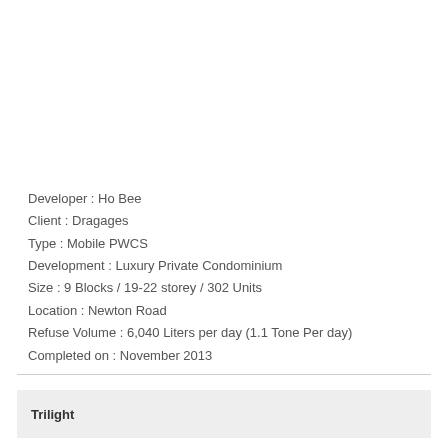Developer : Ho Bee
Client : Dragages
Type : Mobile PWCS
Development : Luxury Private Condominium
Size : 9 Blocks / 19-22 storey / 302 Units
Location : Newton Road
Refuse Volume : 6,040 Liters per day (1.1 Tone Per day)
Completed on : November 2013
Trilight